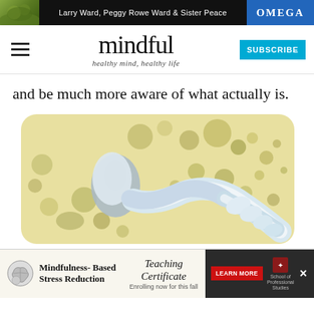Larry Ward, Peggy Rowe Ward & Sister Peace | OMEGA
mindful — healthy mind, healthy life | SUBSCRIBE
and be much more aware of what actually is.
[Figure (illustration): Illustration of sperm cells with a white stylized sperm in the foreground and olive/yellow-green circular shapes in the background on a pale yellow rounded background.]
[Figure (infographic): Advertisement for Mindfulness-Based Stress Reduction Teaching Certificate, enrolling now for this fall, with Learn More button and School of Professional Studies logo.]